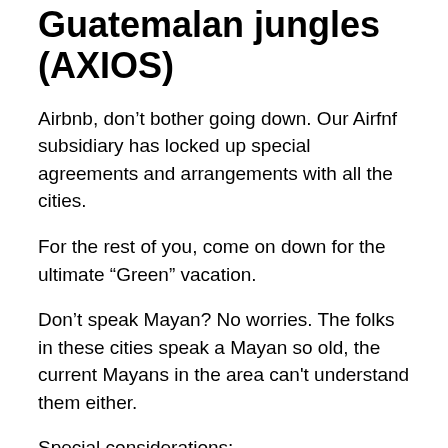Guatemalan jungles (AXIOS)
Airbnb, don't bother going down. Our Airfnf subsidiary has locked up special agreements and arrangements with all the cities.
For the rest of you, come on down for the ultimate “Green” vacation.
Don't speak Mayan? No worries. The folks in these cities speak a Mayan so old, the current Mayans in the area can't understand them either.
Special considerations:
Bring a machete
Binge watch The Living Dead before coming
Skip The Lost City of Z. They got it all wrong. Charlie…